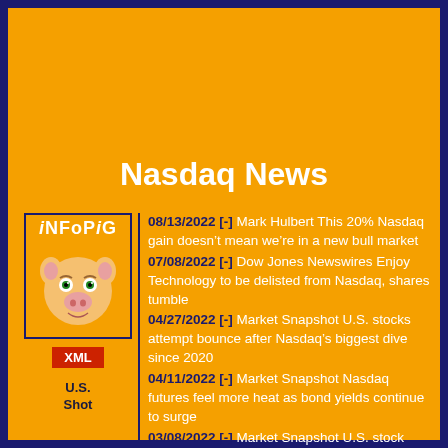Nasdaq News
[Figure (logo): iNFoPiG logo with cartoon pig face illustration]
08/13/2022 [-] Mark Hulbert This 20% Nasdaq gain doesn’t mean we’re in a new bull market
07/08/2022 [-] Dow Jones Newswires Enjoy Technology to be delisted from Nasdaq, shares tumble
04/27/2022 [-] Market Snapshot U.S. stocks attempt bounce after Nasdaq’s biggest dive since 2020
04/11/2022 [-] Market Snapshot Nasdaq futures feel more heat as bond yields continue to surge
03/08/2022 [-] Market Snapshot U.S. stock futures pause after Nasdaq heads into bear market
02/07/2022 [-] Market Snapshot Nasdaq Composite, S&P 500 rise to start week but Dow wavers
01/24/2022 [-] Nasdaq Composite Index starts to
XML
U.S. Shot